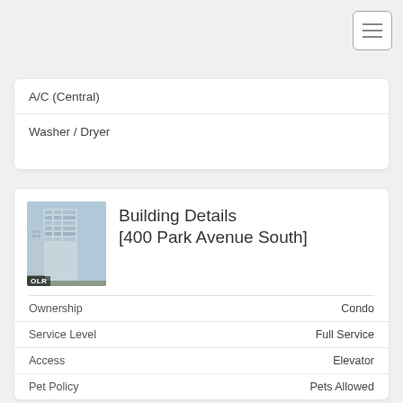[Figure (other): Hamburger menu button icon in top right corner]
A/C (Central)
Washer / Dryer
Building Details
[400 Park Avenue South]
| Field | Value |
| --- | --- |
| Ownership | Condo |
| Service Level | Full Service |
| Access | Elevator |
| Pet Policy | Pets Allowed |
| Block/Lot | 857/46 |
| Building Type | High-Rise |
| Age | Post-War |